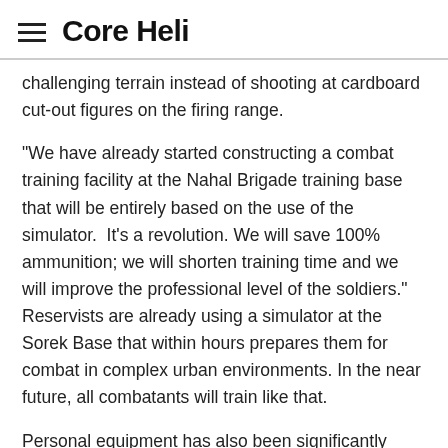Core Heli
challenging terrain instead of shooting at cardboard cut-out figures on the firing range.
"We have already started constructing a combat training facility at the Nahal Brigade training base that will be entirely based on the use of the simulator.  It's a revolution. We will save 100% ammunition; we will shorten training time and we will improve the professional level of the soldiers."  Reservists are already using a simulator at the Sorek Base that within hours prepares them for combat in complex urban environments. In the near future, all combatants will train like that.
Personal equipment has also been significantly upgraded. If in the past only soldiers from special forces units received night vision goggles for each soldier.